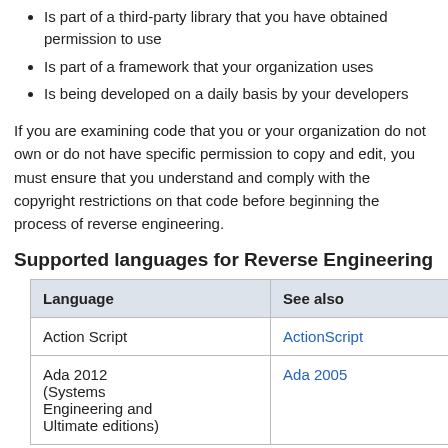Is part of a third-party library that you have obtained permission to use
Is part of a framework that your organization uses
Is being developed on a daily basis by your developers
If you are examining code that you or your organization do not own or do not have specific permission to copy and edit, you must ensure that you understand and comply with the copyright restrictions on that code before beginning the process of reverse engineering.
Supported languages for Reverse Engineering
| Language | See also |
| --- | --- |
| Action Script | ActionScript |
| Ada 2012 (Systems Engineering and Ultimate editions) | Ada 2005 |